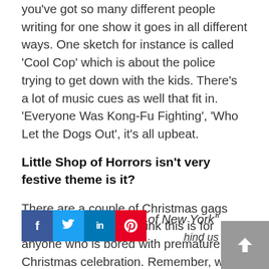you've got so many different people writing for one show it goes in all different ways. One sketch for instance is called ‘Cool Cop’ which is about the police trying to get down with the kids. There’s a lot of music cues as well that fit in. ‘Everyone Was Kong-Fu Fighting’, ‘Who Let the Dogs Out’, it’s all upbeat.
Little Shop of Horrors isn’t very festive theme is it?
There are a couple of Christmas gags and even a sketch! I think this is for anyone who is bored with premature Christmas celebration. Remember, we’ve been working on this all term. That’s a tremendously long time to be jolly.
As I asked this que… of New York” sounded through… hind us